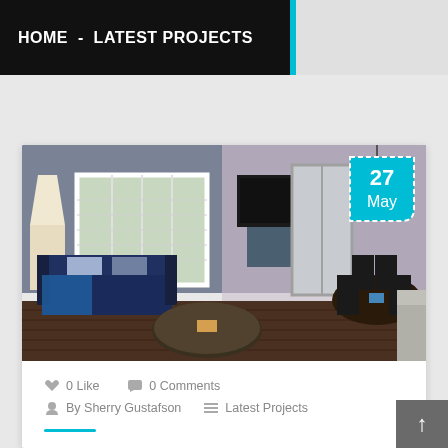HOME - LATEST PROJECTS
[Figure (photo): Interior photo of a living/dining room in a condo — navy blue sofa, white shuttered windows, wall-mounted TV, dining table with chairs, hardwood floor, pendant light]
0 Like   0 Comments
By Sherry Gustafson   Latest Projects
In the luxurious Kingston Plantation in Myrtle Beach, this 2 bedroom 2 bath condo at